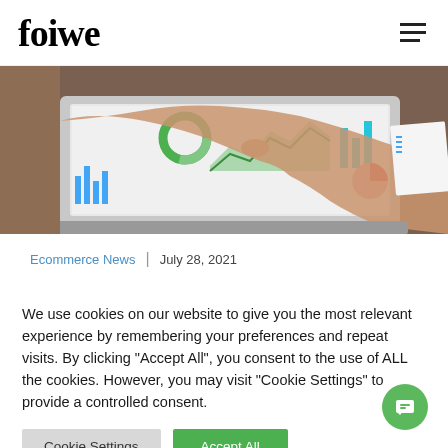foiwe
[Figure (photo): Person pointing at a laptop screen displaying analytics dashboards with charts and graphs, laptop keyboard visible, papers in background]
Ecommerce News  |  July 28, 2021
We use cookies on our website to give you the most relevant experience by remembering your preferences and repeat visits. By clicking "Accept All", you consent to the use of ALL the cookies. However, you may visit "Cookie Settings" to provide a controlled consent.